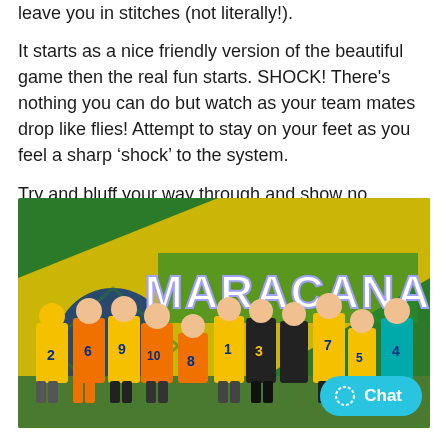leave you in stitches (not literally!).
It starts as a nice friendly version of the beautiful game then the real fun starts. SHOCK! There's nothing you can do but watch as your team mates drop like flies! Attempt to stay on your feet as you feel a sharp ‘shock’ to the system.
Try and bluff your way through and show no reaction to the electric shocks as you prove how macho you are.
[Figure (photo): Group of young men in yellow and orange numbered bibs (numbers 1-9) posing and laughing in front of a MARACANA branded futsal/football pitch backdrop featuring a Brazilian flag design.]